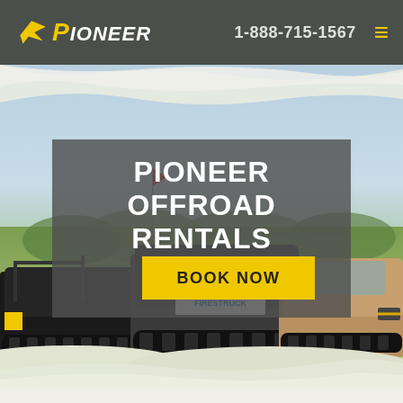Pioneer Offroad Rentals — 1-888-715-1567
[Figure (photo): Hero image showing three off-road tracked vehicles (UTVs/ATVs with rubber tracks) parked in a grassy field. One vehicle has a red flag antenna. Sky is light blue/overcast. White brushstroke effects at top and bottom of hero image.]
PIONEER OFFROAD RENTALS
BOOK NOW